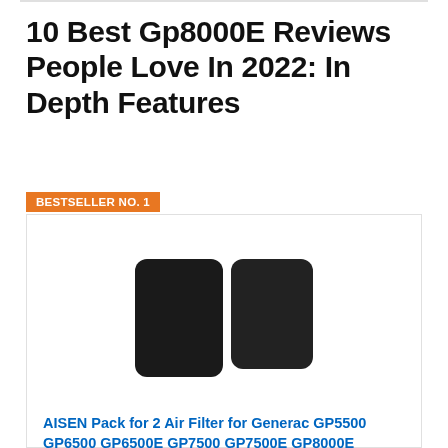10 Best Gp8000E Reviews People Love In 2022: In Depth Features
BESTSELLER NO. 1
[Figure (photo): Two black rectangular air filters with rounded corners, side by side on a white background.]
AISEN Pack for 2 Air Filter for Generac GP5500 GP6500 GP6500E GP7500 GP7500E GP8000E HT5500 HT5500 D65704 D67444E...